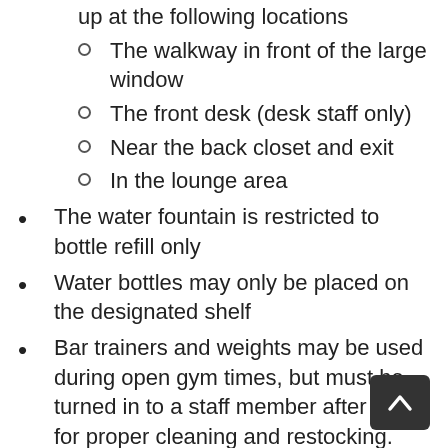Hand sanitizer stations will be set up at the following locations
The walkway in front of the large window
The front desk (desk staff only)
Near the back closet and exit
In the lounge area
The water fountain is restricted to bottle refill only
Water bottles may only be placed on the designated shelf
Bar trainers and weights may be used during open gym times, but must be turned in to a staff member after use for proper cleaning and restocking.